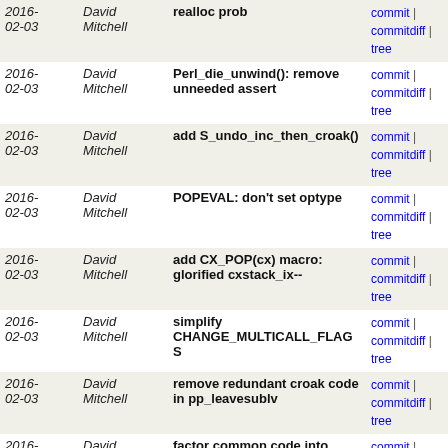| Date | Author | Message | Links |
| --- | --- | --- | --- |
| 2016-02-03 | David Mitchell | realloc prob | commit | commitdiff | tree |
| 2016-02-03 | David Mitchell | Perl_die_unwind(): remove unneeded assert | commit | commitdiff | tree |
| 2016-02-03 | David Mitchell | add S_undo_inc_then_croak() | commit | commitdiff | tree |
| 2016-02-03 | David Mitchell | POPEVAL: don't set optype | commit | commitdiff | tree |
| 2016-02-03 | David Mitchell | add CX_POP(cx) macro: glorified cxstack_ix-- | commit | commitdiff | tree |
| 2016-02-03 | David Mitchell | simplify CHANGE_MULTICALL_FLAGS | commit | commitdiff | tree |
| 2016-02-03 | David Mitchell | remove redundant croak code in pp_leavesublv | commit | commitdiff | tree |
| 2016-02-03 | David Mitchell | factor common code into POPSUB_ARGS() | commit | commitdiff | tree |
| 2016-02-03 | David Mitchell | pp_coreargs: rationalise @_ code | commit | commitdiff | tree |
| 2016-02-03 | David Mitchell | split some common POPSUB code into a macro | commit | commitdiff | tree |
| 2016-02-03 | David Mitchell | make POPSUBST not cxstack_ix-- | commit | commitdiff | tree |
| 2016-02-03 | David Mitchell | dowinwind(): move common CX_LEAVE_SCOPE() outside | commit | commitdiff | tree |
| 2016-02-03 | David Mitchell | dounwind: CX_LEAVE_SCOPE for CXt_SUBST too | commit | commitdiff | tree |
| 2016-02-03 | David Mitchell | move blku_old_savestack_ix to base of cxt struct | commit | commitdiff | tree |